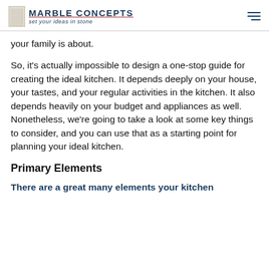MARBLE CONCEPTS — set your ideas in stone
your family is about.
So, it's actually impossible to design a one-stop guide for creating the ideal kitchen. It depends deeply on your house, your tastes, and your regular activities in the kitchen. It also depends heavily on your budget and appliances as well. Nonetheless, we're going to take a look at some key things to consider, and you can use that as a starting point for planning your ideal kitchen.
Primary Elements
There are a great many elements your kitchen